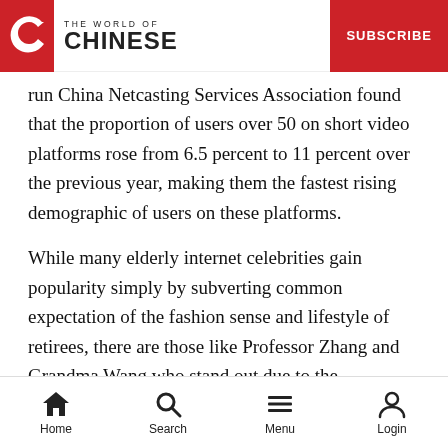THE WORLD OF CHINESE | SUBSCRIBE
run China Netcasting Services Association found that the proportion of users over 50 on short video platforms rose from 6.5 percent to 11 percent over the previous year, making them the fastest rising demographic of users on these platforms.
While many elderly internet celebrities gain popularity simply by subverting common expectation of the fashion sense and lifestyle of retirees, there are those like Professor Zhang and Grandma Wang who stand out due to the professional knowledge and life experience they've gained with age. Grandma Wang's short videos have
Home | Search | Menu | Login